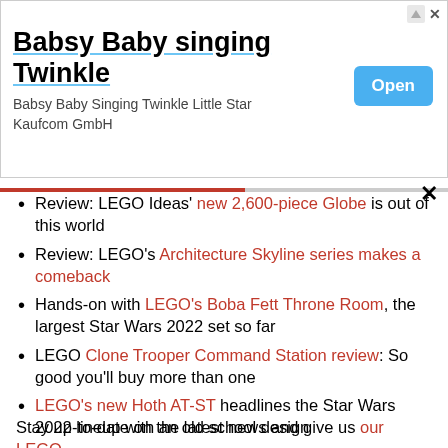[Figure (other): Advertisement banner: Babsy Baby singing Twinkle, with Open button]
Review: LEGO Ideas' new 2,600-piece Globe is out of this world
Review: LEGO's Architecture Skyline series makes a comeback
Hands-on with LEGO's Boba Fett Throne Room, the largest Star Wars 2022 set so far
LEGO Clone Trooper Command Station review: So good you'll buy more than one
LEGO's new Hoth AT-ST headlines the Star Wars 2022 lineup with an old school design
LEGO Snowtrooper Battle Pack review: Army building at its finest
Stay up-to-date on the latest news and give us our LEGO